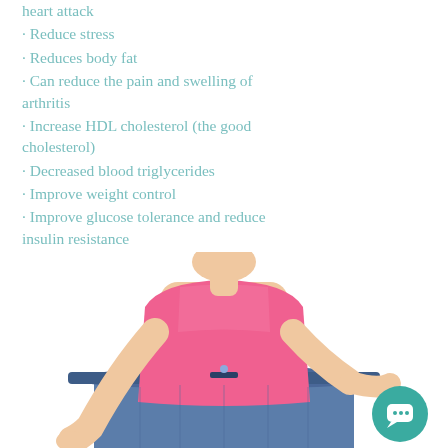heart attack
· Reduce stress
· Reduces body fat
· Can reduce the pain and swelling of arthritis
· Increase HDL cholesterol (the good cholesterol)
· Decreased blood triglycerides
· Improve weight control
· Improve glucose tolerance and reduce insulin resistance
[Figure (photo): Person showing weight loss by holding out oversized jeans waistband, wearing pink top, white background]